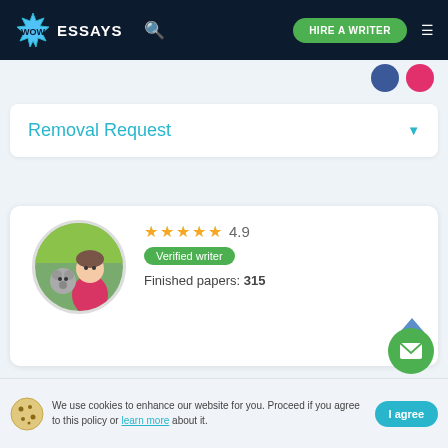[Figure (logo): WowEssays logo with star burst and navigation header including search icon, Hire a Writer button, and hamburger menu]
Removal Request
[Figure (photo): Circular profile photo of a young man with a husky dog]
4.9
Verified writer
Finished papers: 315
This paper is created by writer with
We use cookies to enhance our website for you. Proceed if you agree to this policy or learn more about it.